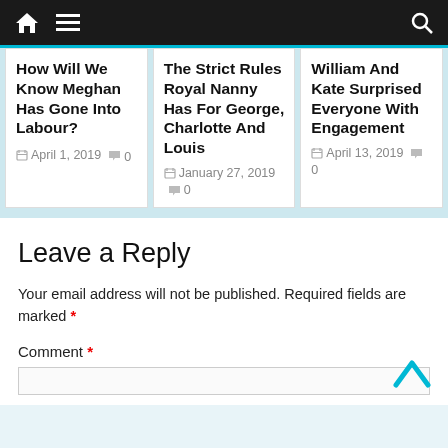Navigation bar with home, menu, and search icons
How Will We Know Meghan Has Gone Into Labour?
April 1, 2019  0
The Strict Rules Royal Nanny Has For George, Charlotte And Louis
January 27, 2019  0
William And Kate Surprised Everyone With Engagement
April 13, 2019  0
Leave a Reply
Your email address will not be published. Required fields are marked *
Comment *